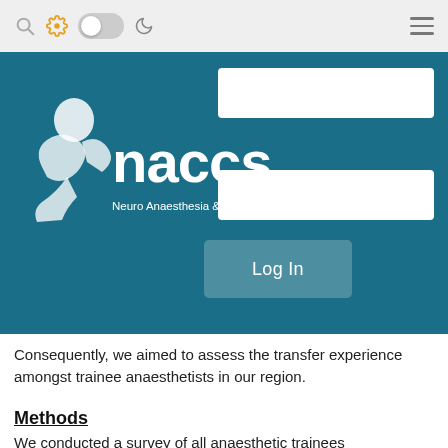[Figure (screenshot): Website navigation bar with search icon, gear/settings icon (yellow), toggle switch, moon icon, and hamburger menu icon on the right]
[Figure (logo): NACCS logo — Neuro Anaesthesia & Critical Care Society — white text and figure on teal background, with login form fields and Log In button]
Consequently, we aimed to assess the transfer experience amongst trainee anaesthetists in our region.
Methods
We conducted a survey of all anaesthetic trainees